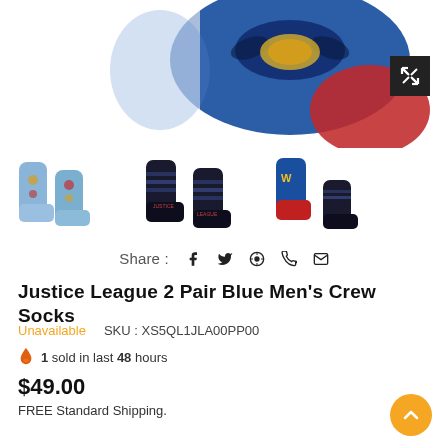[Figure (photo): Close-up of blue Justice League crew socks with Batman logo and red toe area, partially visible at top of page]
[Figure (photo): Three thumbnail images of Justice League socks: light blue pair with superhero logos, dark striped pair, and blue/red pair with Wonder Woman design]
Share : f  🐦  P  ⊕  ✉
Justice League 2 Pair Blue Men's Crew Socks
Unavailable    SKU : XS5QL1JLA00PP00
🔥 1 sold in last 48 hours
$49.00
FREE Standard Shipping.